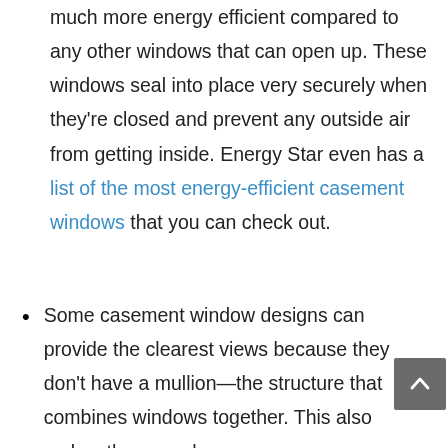Replacement casement windows are much more energy efficient compared to any other windows that can open up. These windows seal into place very securely when they're closed and prevent any outside air from getting inside. Energy Star even has a list of the most energy-efficient casement windows that you can check out.
Some casement window designs can provide the clearest views because they don't have a mullion—the structure that combines windows together. This also makes them much